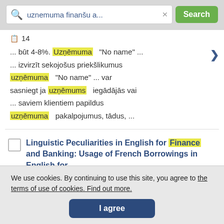[Figure (screenshot): Search bar with query 'uznemuma finansu a...' and green Search button]
14
... būt 4-8%. Uzņēmuma "No name" ... izvirzīt sekojošus priekšlikumus uzņēmuma "No name" ... var sasniegt ja uzņēmums iegādājās vai ... saviem klientiem papildus uzņēmuma pakalpojumus, tādus, ...
Linguistic Peculiarities in English for Finance and Banking: Usage of French Borrowings in English for
We use cookies. By continuing to use this site, you agree to the terms of use of cookies. Find out more.